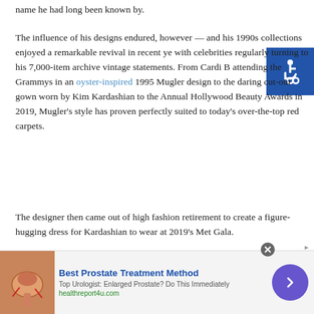name he had long been known by.
The influence of his designs endured, however — and his 1990s collections enjoyed a remarkable revival in recent years, with celebrities regularly turning to his 7,000-item archive for vintage statements. From Cardi B attending the Grammys in an oyster-inspired 1995 Mugler design to the daring cut-out gown worn by Kim Kardashian to the Annual Hollywood Beauty Awards in 2019, Mugler's style has proven perfectly suited to today's over-the-top red carpets.
The designer then came out of high fashion retirement to create a figure-hugging dress for Kardashian to wear at 2019's Met Gala.
[Figure (photo): Partial photo visible at bottom of article]
[Figure (infographic): Advertisement: Best Prostate Treatment Method — Top Urologist: Enlarged Prostate? Do This Immediately — healthreport4u.com]